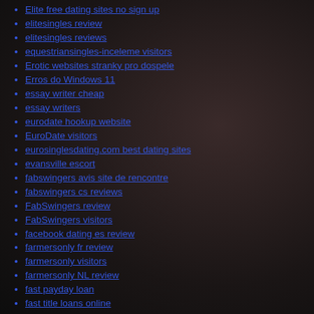Elite free dating sites no sign up
elitesingles review
elitesingles reviews
equestriansingles-inceleme visitors
Erotic websites stranky pro dospele
Erros do Windows 11
essay writer cheap
essay writers
eurodate hookup website
EuroDate visitors
eurosinglesdating.com best dating sites
evansville escort
fabswingers avis site de rencontre
fabswingers cs reviews
FabSwingers review
FabSwingers visitors
facebook dating es review
farmersonly fr review
farmersonly visitors
farmersonly NL review
fast payday loan
fast title loans online
fastflirting NL review
fcn chat avis site de rencontre
fdating reviews